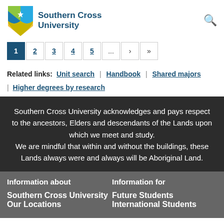[Figure (logo): Southern Cross University logo with shield and text]
Pagination: 1 (active), 2, 3, 4, 5, ..., >, >>
Related links: Unit search | Handbook | Shared majors | Higher degrees by research
Southern Cross University acknowledges and pays respect to the ancestors, Elders and descendants of the Lands upon which we meet and study. We are mindful that within and without the buildings, these Lands always were and always will be Aboriginal Land.
Information about
Information for
Southern Cross University
Our Locations
Future Students
International Students